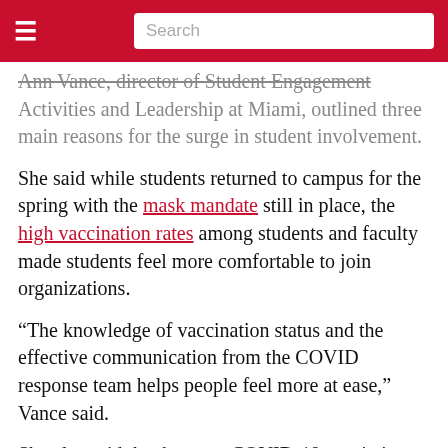≡  Search
Ann Vance, director of Student Engagement Activities and Leadership at Miami, outlined three main reasons for the surge in student involvement.
She said while students returned to campus for the spring with the mask mandate still in place, the high vaccination rates among students and faculty made students feel more comfortable to join organizations.
“The knowledge of vaccination status and the effective communication from the COVID response team helps people feel more at ease,” Vance said.
She also said that because COVID-19 restrictions eased, it feels like a typical spring semester. Miami announced last week that masks would only have to